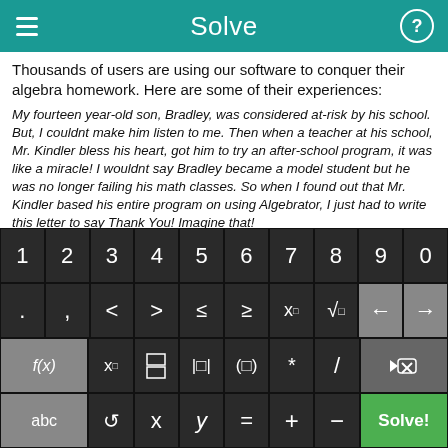Solve
Thousands of users are using our software to conquer their algebra homework. Here are some of their experiences:
My fourteen year-old son, Bradley, was considered at-risk by his school. But, I couldnt make him listen to me. Then when a teacher at his school, Mr. Kindler bless his heart, got him to try an after-school program, it was like a miracle! I wouldnt say Bradley became a model student but he was no longer failing his math classes. So when I found out that Mr. Kindler based his entire program on using Algebrator, I just had to write this letter to say Thank You! Imagine that!
David Figueroa, NY.
[Figure (screenshot): On-screen math keyboard with number row (1-9,0), symbols row (dot, comma, <, >, ≤, ≥, x^□, √, back/forward arrows), function row (f(x), x_□, fraction, |□|, (□), *, /, delete), and bottom row (abc, undo, x, y, =, +, -, Solve! button)]